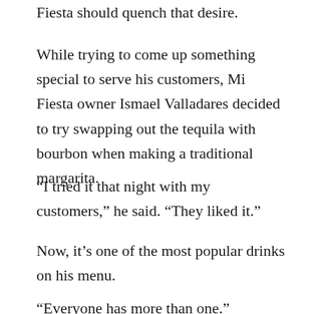Fiesta should quench that desire.
While trying to come up something special to serve his customers, Mi Fiesta owner Ismael Valladares decided to try swapping out the tequila with bourbon when making a traditional margarita.
“I tried it that night with my customers,” he said. “They liked it.”
Now, it’s one of the most popular drinks on his menu.
“Everyone has more than one.”